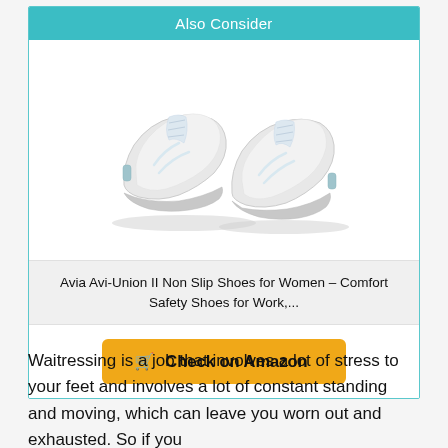Also Consider
[Figure (photo): A pair of white Avia Avi-Union II non-slip athletic shoes for women, shown from a front-angle view with grey accents on the soles.]
Avia Avi-Union II Non Slip Shoes for Women – Comfort Safety Shoes for Work,...
Check on Amazon
Waitressing is a job that involves a lot of stress to your feet and involves a lot of constant standing and moving, which can leave you worn out and exhausted. So if you